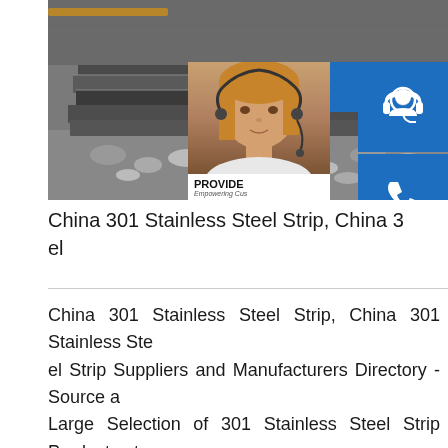[Figure (photo): Photo of stainless steel plates/sheets stacked on gravel, with a customer service overlay panel on the right showing a woman with headset, 24/7 label, headset icon, phone icon, Skype icon, and online live button]
China 301 Stainless Steel Strip, China 301 Stainless Steel Strip Suppliers and Manufacturers Directory
China 301 Stainless Steel Strip, China 301 Stainless Steel Strip Suppliers and Manufacturers Directory - Source a Large Selection of 301 Stainless Steel Strip Products at circle stainless steel,stainless steel pipe,stainless steel sheet from China sp.infoChina Stainless Steel 301 Slitting Coil Slitting Coil We're well-known as one of the leading s